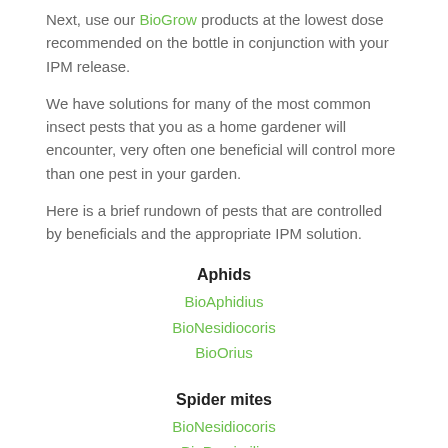Next, use our BioGrow products at the lowest dose recommended on the bottle in conjunction with your IPM release.
We have solutions for many of the most common insect pests that you as a home gardener will encounter, very often one beneficial will control more than one pest in your garden.
Here is a brief rundown of pests that are controlled by beneficials and the appropriate IPM solution.
Aphids
BioAphidius
BioNesidiocoris
BioOrius
Spider mites
BioNesidiocoris
BioPersimilis
BioSwirskii